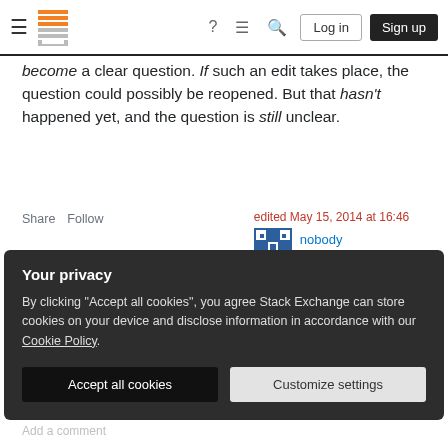Stack Exchange — hamburger, logo, help, chat, search, Log in, Sign up
become a clear question. If such an edit takes place, the question could possibly be reopened. But that hasn't happened yet, and the question is still unclear.
Share   Follow   edited May 15, 2014 at 16:46  nobody  19.6k ● 11 ● 65 ● 81   answered May 15, 2014 at 16:29  Servy  199k ● 103 ● 672 ● 799
Your privacy
By clicking "Accept all cookies", you agree Stack Exchange can store cookies on your device and disclose information in accordance with our Cookie Policy.
[Accept all cookies] [Customize settings]
Add a comment